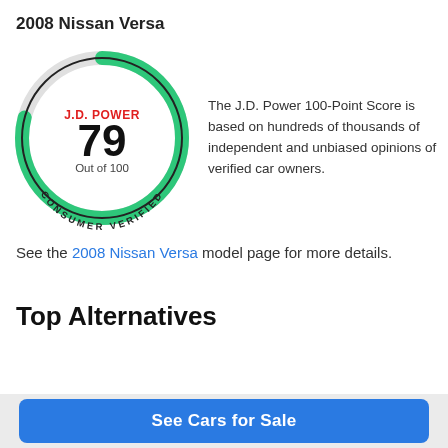2008 Nissan Versa
[Figure (donut-chart): J.D. Power donut gauge showing score of 79 out of 100, Consumer Verified]
The J.D. Power 100-Point Score is based on hundreds of thousands of independent and unbiased opinions of verified car owners.
See the 2008 Nissan Versa model page for more details.
Top Alternatives
See Cars for Sale